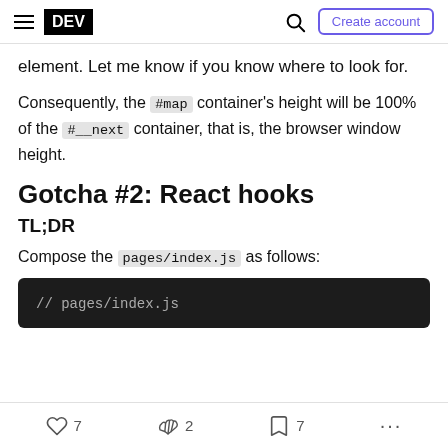DEV | Create account
element. Let me know if you know where to look for.
Consequently, the #map container's height will be 100% of the #__next container, that is, the browser window height.
Gotcha #2: React hooks
TL;DR
Compose the pages/index.js as follows:
[Figure (screenshot): Code block showing: // pages/index.js]
♡ 7   🤝 2   🔖 7   ...